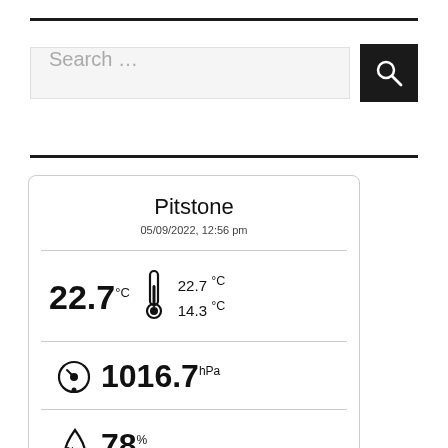[Figure (screenshot): Search bar with text 'Search ...' and a dark search button with magnifying glass icon]
[Figure (infographic): Weather card for Pitstone showing temperature 22.7°C (high 22.7°C, low 14.3°C), pressure 1016.7 hPa, and humidity 78%, dated 05/09/2022, 12:56 pm]